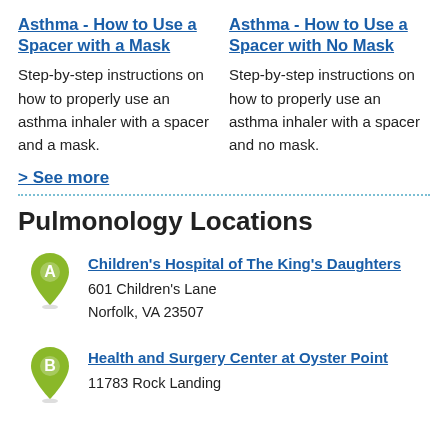Asthma - How to Use a Spacer with a Mask
Step-by-step instructions on how to properly use an asthma inhaler with a spacer and a mask.
Asthma - How to Use a Spacer with No Mask
Step-by-step instructions on how to properly use an asthma inhaler with a spacer and no mask.
> See more
Pulmonology Locations
Children's Hospital of The King's Daughters
601 Children's Lane
Norfolk, VA 23507
Health and Surgery Center at Oyster Point
11783 Rock Landing